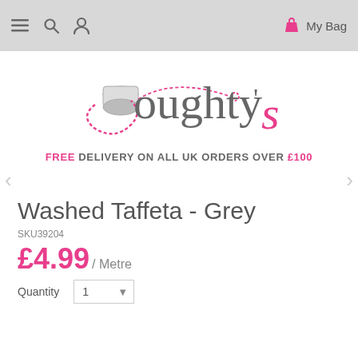≡ 🔍 👤  My Bag
[Figure (logo): Doughty's fabric store logo with thread spool and pink cursive text]
FREE DELIVERY ON ALL UK ORDERS OVER £100
Washed Taffeta - Grey
SKU39204
£4.99 / Metre
Quantity  1